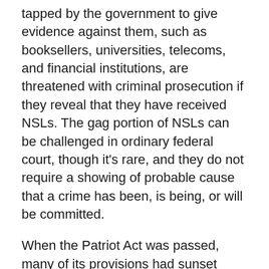tapped by the government to give evidence against them, such as booksellers, universities, telecoms, and financial institutions, are threatened with criminal prosecution if they reveal that they have received NSLs. The gag portion of NSLs can be challenged in ordinary federal court, though it's rare, and they do not require a showing of probable cause that a crime has been, is being, or will be committed.
When the Patriot Act was passed, many of its provisions had sunset clauses that would put them to rest several years later. But in 2006, President George W. Bush signed a bill that reauthorized most expiring provisions (libraries largely became exempt from being issued NSLs), and in May 2011, President Obama signed another extension, which ensured the continued lifespan of three key provisions and expanded their reach. Foreign intelligence gathering